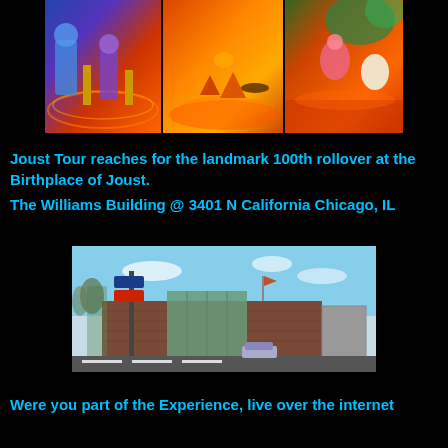[Figure (photo): A colorful artistic mural or arcade game artwork panel showing fantastical creatures, robots, and desert/volcanic landscape scenes in three panels side by side]
Joust Tour reaches for the landmark 100th rollover at the Birthplace of Joust.
The Williams Building @ 3401 N California Chicago, IL
[Figure (photo): Exterior photo of The Williams Building at 3401 N California, Chicago, IL. A wide modern building with brick and green glass facade, street signs visible, cars parked outside, clear sky.]
Were you part of the Experience, live over the internet